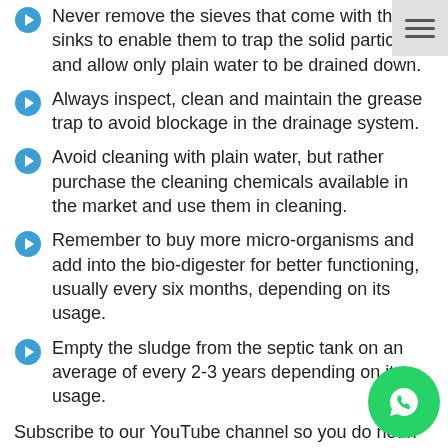Never remove the sieves that come with the sinks to enable them to trap the solid particles and allow only plain water to be drained down.
Always inspect, clean and maintain the grease trap to avoid blockage in the drainage system.
Avoid cleaning with plain water, but rather purchase the cleaning chemicals available in the market and use them in cleaning.
Remember to buy more micro-organisms and add into the bio-digester for better functioning, usually every six months, depending on its usage.
Empty the sludge from the septic tank on an average of every 2-3 years depending on its usage.
Subscribe to our YouTube channel so you do not have to miss out on any of these amazing tips. https://www.youtube.com/channel/UCq_W3t7PL002_YC